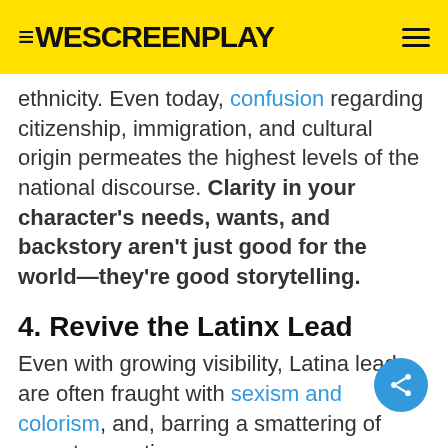WESCREENPLAY
ethnicity. Even today, confusion regarding citizenship, immigration, and cultural origin permeates the highest levels of the national discourse. Clarity in your character's needs, wants, and backstory aren't just good for the world—they're good storytelling.
4. Revive the Latinx Lead
Even with growing visibility, Latina leads are often fraught with sexism and colorism, and, barring a smattering of recent exceptions,